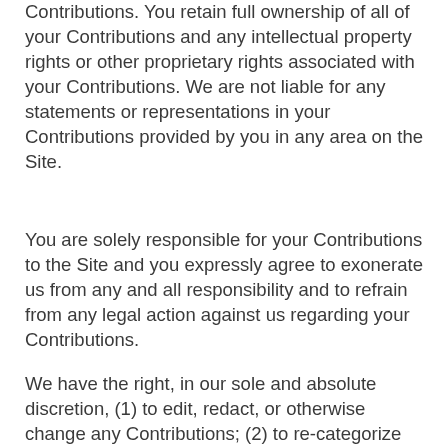We do not assert any ownership over your Contributions. You retain full ownership of all of your Contributions and any intellectual property rights or other proprietary rights associated with your Contributions. We are not liable for any statements or representations in your Contributions provided by you in any area on the Site.
You are solely responsible for your Contributions to the Site and you expressly agree to exonerate us from any and all responsibility and to refrain from any legal action against us regarding your Contributions.
We have the right, in our sole and absolute discretion, (1) to edit, redact, or otherwise change any Contributions; (2) to re-categorize any